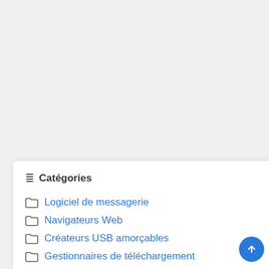Catégories
Logiciel de messagerie
Navigateurs Web
Créateurs USB amorçables
Gestionnaires de téléchargement
Logiciel d'édition d'images